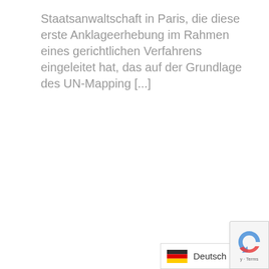Staatsanwaltschaft in Paris, die diese erste Anklageerhebung im Rahmen eines gerichtlichen Verfahrens eingeleitet hat, das auf der Grundlage des UN-Mapping [...]
[Figure (other): reCAPTCHA badge icon in bottom-right corner]
Deutsch >